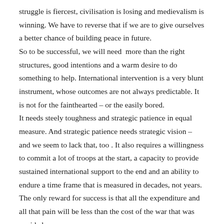struggle is fiercest, civilisation is losing and medievalism is winning. We have to reverse that if we are to give ourselves a better chance of building peace in future. So to be successful, we will need more than the right structures, good intentions and a warm desire to do something to help. International intervention is a very blunt instrument, whose outcomes are not always predictable. It is not for the fainthearted – or the easily bored. It needs steely toughness and strategic patience in equal measure. And strategic patience needs strategic vision – and we seem to lack that, too . It also requires a willingness to commit a lot of troops at the start, a capacity to provide sustained international support to the end and an ability to endure a time frame that is measured in decades, not years. The only reward for success is that all the expenditure and all that pain will be less than the cost of the war that was avoided,